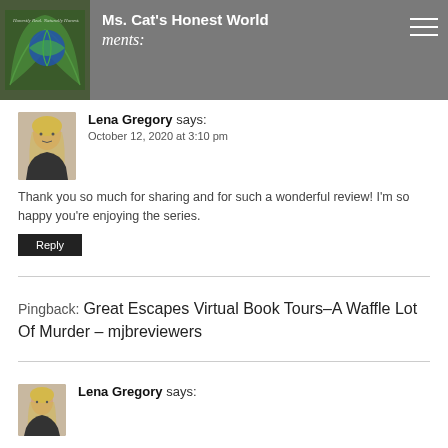Ms. Cat's Honest World — ments:
Lena Gregory says:
October 12, 2020 at 3:10 pm
Thank you so much for sharing and for such a wonderful review! I'm so happy you're enjoying the series.
Reply
Pingback: Great Escapes Virtual Book Tours–A Waffle Lot Of Murder – mjbreviewers
Lena Gregory says: